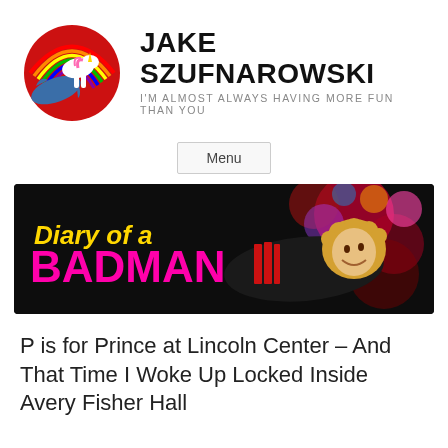[Figure (logo): Jake Szufnarowski logo: a circular image with a rainbow, unicorn and shark, beside bold text 'JAKE SZUFNAROWSKI' and tagline 'I'M ALMOST ALWAYS HAVING MORE FUN THAN YOU']
Menu
[Figure (photo): Banner image for 'Diary of a BADMAN' showing a performer with yellow curly hair lying down, wearing a black outfit with red fringe, with colorful stage lights in background. Text overlay reads 'Diary of a' in yellow and 'BADMAN' in pink bold.]
P is for Prince at Lincoln Center – And That Time I Woke Up Locked Inside Avery Fisher Hall